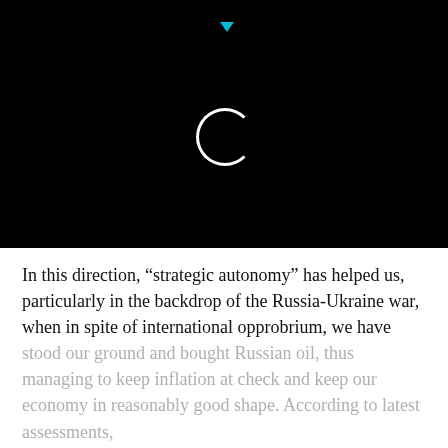[Figure (screenshot): Black header area with a loading circle animation and a small cyan triangle/arrow at the top center, representing a mobile app or website header loading state.]
In this direction, “strategic autonomy” has helped us, particularly in the backdrop of the Russia-Ukraine war, when in spite of international opprobrium, we have stood our ground and bought Russian oil, thus managing to keep inflation at check and keep our economy in reasonably good shape. According to latest assessments,
CONTINUE READING
OPINION
Fix administrative onus for illegal